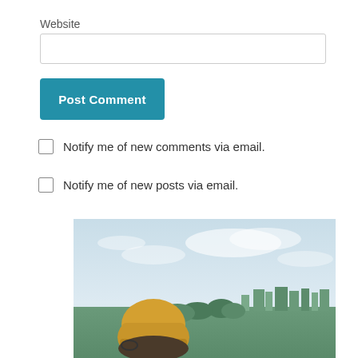Website
[Figure (screenshot): Empty text input field for website URL]
[Figure (screenshot): Teal/blue 'Post Comment' button]
Notify me of new comments via email.
Notify me of new posts via email.
[Figure (photo): Person wearing a yellow beanie hat viewed from behind, looking out over a cityscape (appears to be Los Angeles) under a partly cloudy sky]